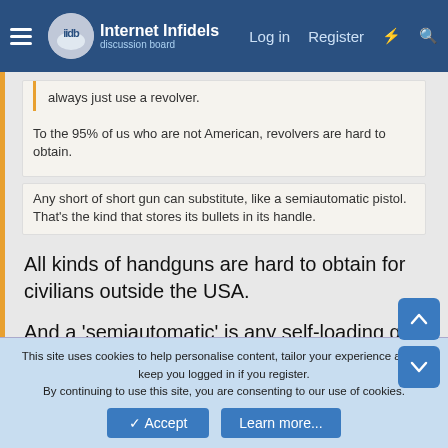Internet Infidels - Log in | Register
always just use a revolver.
To the 95% of us who are not American, revolvers are hard to obtain.
Any short of short gun can substitute, like a semiautomatic pistol. That's the kind that stores its bullets in its handle.
All kinds of handguns are hard to obtain for civilians outside the USA.
And a 'semiautomatic' is any self-loading gun that requires a separate trigger pull for each shot (as opposed to an automatic, which continues to load and fire as long as the trigger is depressed). The location of the magazine is irrelevant - although
This site uses cookies to help personalise content, tailor your experience and to keep you logged in if you register.
By continuing to use this site, you are consenting to our use of cookies.